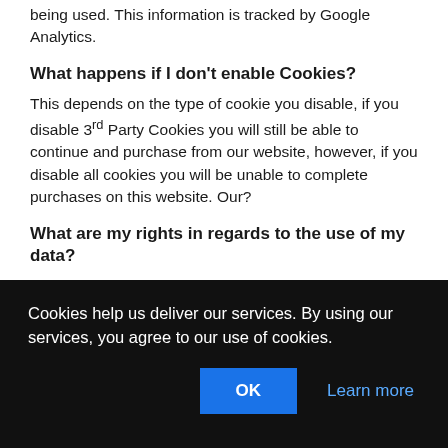being used. This information is tracked by Google Analytics.
What happens if I don't enable Cookies?
This depends on the type of cookie you disable, if you disable 3rd Party Cookies you will still be able to continue and purchase from our website, however, if you disable all cookies you will be unable to complete purchases on this website. Our?
What are my rights in regards to the use of my data?
You have the right to delete your data at any time by amending your account settings. If you are happy for us to store your data, but don't wish to
Cookies help us deliver our services. By using our services, you agree to our use of cookies.